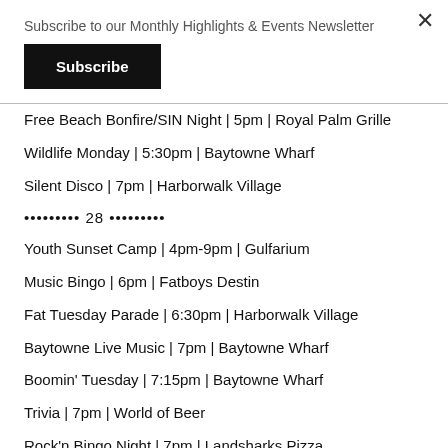Subscribe to our Monthly Highlights & Events Newsletter
Subscribe
Free Beach Bonfire/SIN Night | 5pm | Royal Palm Grille
Wildlife Monday | 5:30pm | Baytowne Wharf
Silent Disco | 7pm | Harborwalk Village
••••••••• 28 •••••••••
Youth Sunset Camp | 4pm-9pm | Gulfarium
Music Bingo | 6pm | Fatboys Destin
Fat Tuesday Parade | 6:30pm | Harborwalk Village
Baytowne Live Music | 7pm | Baytowne Wharf
Boomin' Tuesday | 7:15pm | Baytowne Wharf
Trivia | 7pm | World of Beer
Rock'n Bingo Night | 7pm | Landsharks Pizza
Movies on the Beach | 8pm | Al's Beach Club
Open Jam Mic Night | 8pm | Enlightened Studios